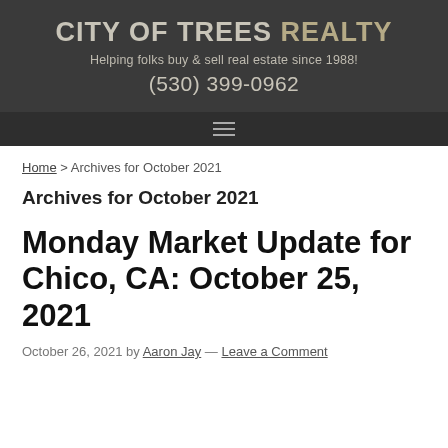CITY OF TREES REALTY
Helping folks buy & sell real estate since 1988!
(530) 399-0962
Home > Archives for October 2021
Archives for October 2021
Monday Market Update for Chico, CA: October 25, 2021
October 26, 2021 by Aaron Jay — Leave a Comment